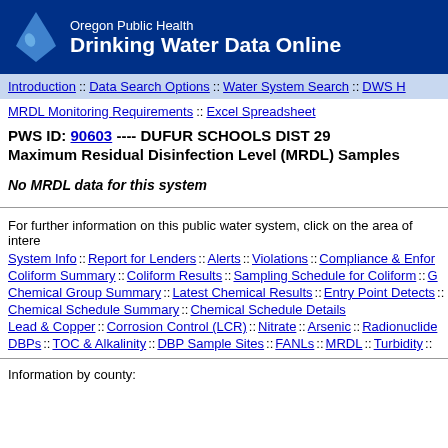Oregon Public Health Drinking Water Data Online
Introduction :: Data Search Options :: Water System Search :: DWS H
MRDL Monitoring Requirements :: Excel Spreadsheet
PWS ID: 90603 ---- DUFUR SCHOOLS DIST 29
Maximum Residual Disinfection Level (MRDL) Samples
No MRDL data for this system
For further information on this public water system, click on the area of intere
System Info :: Report for Lenders :: Alerts :: Violations :: Compliance & Enfor
Coliform Summary :: Coliform Results :: Sampling Schedule for Coliform :: G
Chemical Group Summary :: Latest Chemical Results :: Entry Point Detects :
Chemical Schedule Summary :: Chemical Schedule Details
Lead & Copper :: Corrosion Control (LCR) :: Nitrate :: Arsenic :: Radionuclide
DBPs :: TOC & Alkalinity :: DBP Sample Sites :: FANLs :: MRDL :: Turbidity ::
Information by county: